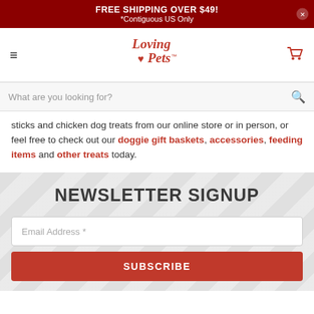FREE SHIPPING OVER $49!
*Contiguous US Only
[Figure (logo): Loving Pets logo with heart icon, red text]
What are you looking for?
sticks and chicken dog treats from our online store or in person, or feel free to check out our doggie gift baskets, accessories, feeding items and other treats today.
NEWSLETTER SIGNUP
Email Address *
SUBSCRIBE